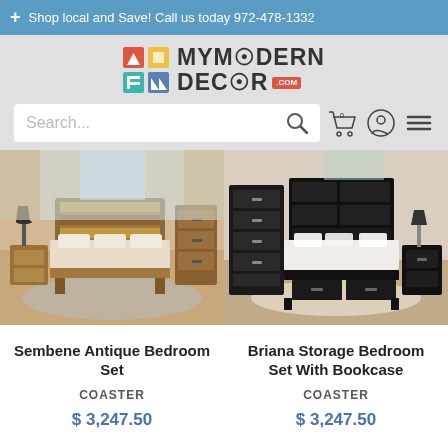+ Shop local and Save! Call us today 972-478-1332
[Figure (logo): MyModernDecor.com logo with colorful grid icon]
[Figure (screenshot): Search bar with magnifying glass icon, cart icon, user icon, and hamburger menu]
[Figure (photo): Sembene Antique Bedroom Set - wooden bedroom furniture with warm tones]
[Figure (photo): Briana Storage Bedroom Set With Bookcase - black bedroom furniture]
Sembene Antique Bedroom Set
COASTER
$ 3,247.50
Briana Storage Bedroom Set With Bookcase
COASTER
$ 3,247.50